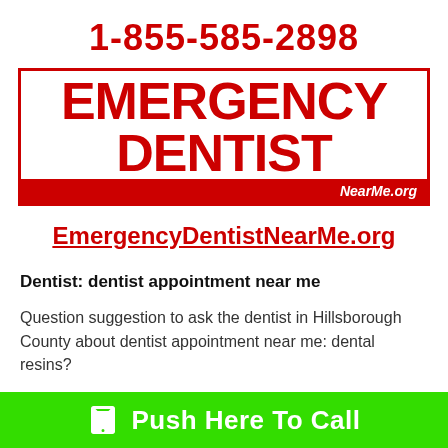1-855-585-2898
[Figure (logo): Emergency Dentist NearMe.org logo with large red text on white background and red bar with white italic text]
EmergencyDentistNearMe.org
Dentist: dentist appointment near me
Question suggestion to ask the dentist in Hillsborough County about dentist appointment near me: dental resins?
Push Here To Call